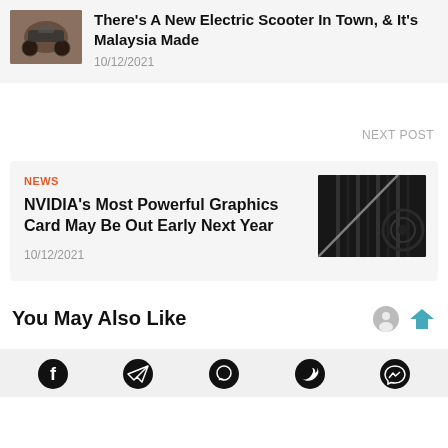[Figure (photo): Thumbnail image of an electric scooter]
There's A New Electric Scooter In Town, & It's Malaysia Made
10/12/2021
NEXT POST
NEWS
NVIDIA's Most Powerful Graphics Card May Be Out Early Next Year
10/12/2021
[Figure (photo): Dark close-up image of an NVIDIA graphics card with fins and fan visible]
You May Also Like
[Figure (other): Social media sharing icons: Facebook, Telegram, WhatsApp, Twitter, Messenger]